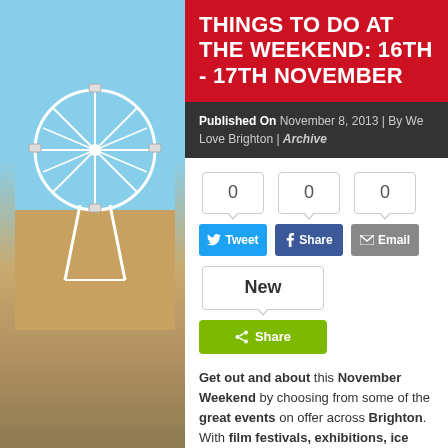[Figure (photo): Brighton seafront and Ferris wheel background photo split on left and right sides]
THINGS TO DO AT THE WEEKEND: 16TH - 17TH NOVEMBER
Published On November 8, 2013 | By We Love Brighton | Archive
0  0  0  Tweet  Share  Email  New  Share
Get out and about this November Weekend by choosing from some of the great events on offer across Brighton. With film festivals, exhibitions, ice skating, theatre, live music and club nights there's something for everyone!